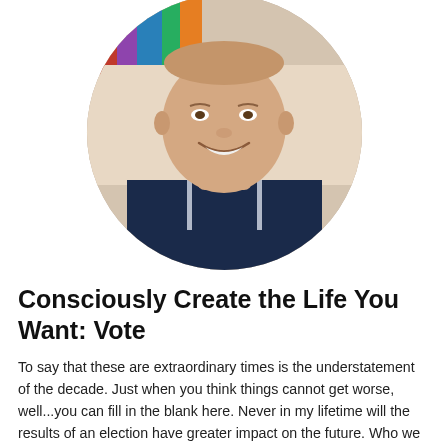[Figure (photo): Circular cropped headshot photo of a middle-aged man smiling, wearing a dark navy polo shirt with grey trim, with bookshelves visible in the background.]
Consciously Create the Life You Want: Vote
To say that these are extraordinary times is the understatement of the decade. Just when you think things cannot get worse, well...you can fill in the blank here. Never in my lifetime will the results of an election have greater impact on the future. Who we choose to hold elected office at the Federal, state, and local levels will be responsible for making life-altering decisions about everything that matters to